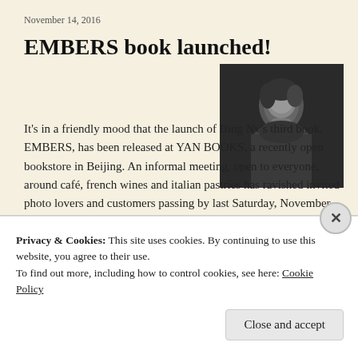November 14, 2016
EMBERS book launched!
[Figure (photo): Black and white portrait photo of a woman looking downward]
It's in a friendly mood that the launch of Bing Nv's third book, EMBERS, has been released at YAN BOOKS, a recently open bookstore in Beijing. An informal meeting, open to everyone, around café, french wines and italian pastries has ravished invited photo lovers and customers passing by last Saturday, November 12th. Chat with the photographer …
Continue reading
Privacy & Cookies: This site uses cookies. By continuing to use this website, you agree to their use.
To find out more, including how to control cookies, see here: Cookie Policy
Close and accept